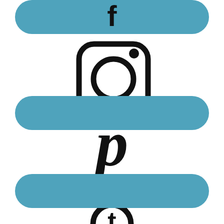[Figure (illustration): Social media icons (Facebook, Instagram, Pinterest, and partially visible fourth icon) each overlaid on a teal/steel-blue rounded rectangle banner. The Facebook 'f' icon appears at top, Instagram camera icon in the middle, Pinterest 'p' icon below, and a fourth partially visible icon at the bottom.]